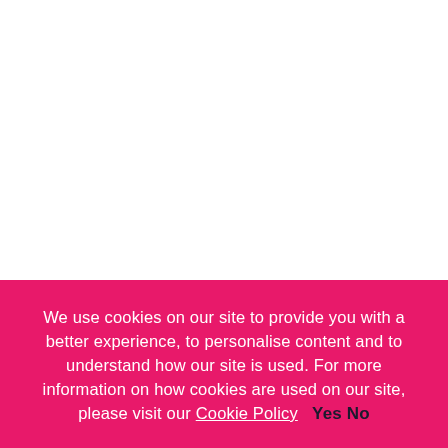We use cookies on our site to provide you with a better experience, to personalise content and to understand how our site is used. For more information on how cookies are used on our site, please visit our Cookie Policy   Yes No